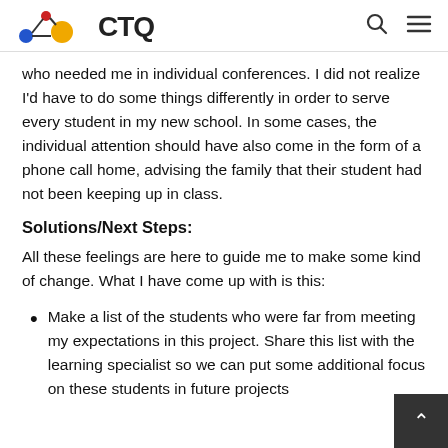CTQ logo, search and menu icons
who needed me in individual conferences. I did not realize I'd have to do some things differently in order to serve every student in my new school. In some cases, the individual attention should have also come in the form of a phone call home, advising the family that their student had not been keeping up in class.
Solutions/Next Steps:
All these feelings are here to guide me to make some kind of change. What I have come up with is this:
Make a list of the students who were far from meeting my expectations in this project. Share this list with the learning specialist so we can put some additional focus on these students in future projects